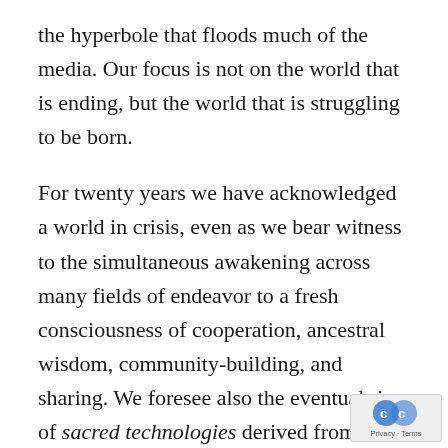the hyperbole that floods much of the media. Our focus is not on the world that is ending, but the world that is struggling to be born.

For twenty years we have acknowledged a world in crisis, even as we bear witness to the simultaneous awakening across many fields of endeavor to a fresh consciousness of cooperation, ancestral wisdom, community-building, and sharing. We foresee also the eventual rise of sacred technologies derived from the sun, hydrogen, light, wind, plants, and scaling geometries found in nature. This is transformation
[Figure (logo): Creative Commons or similar license watermark icon in bottom right corner with 'Privacy · Terms' text]